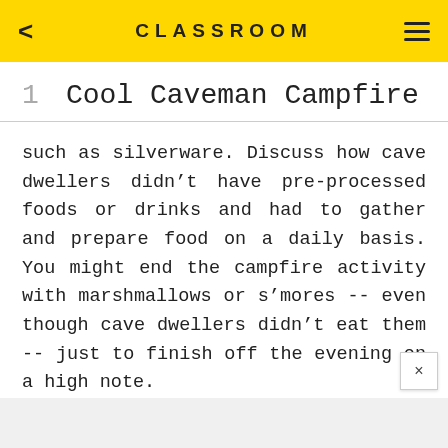CLASSROOM
1   Cool Caveman Campfire
such as silverware. Discuss how cave dwellers didn't have pre-processed foods or drinks and had to gather and prepare food on a daily basis. You might end the campfire activity with marshmallows or s'mores -- even though cave dwellers didn't eat them -- just to finish off the evening on a high note.